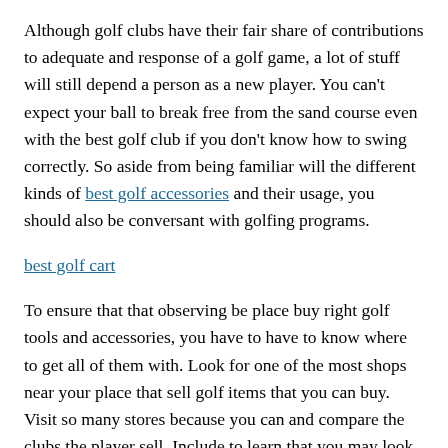clubs and to attempt them all the way.
Although golf clubs have their fair share of contributions to adequate and response of a golf game, a lot of stuff will still depend a person as a new player. You can't expect your ball to break free from the sand course even with the best golf club if you don't know how to swing correctly. So aside from being familiar will the different kinds of best golf accessories and their usage, you should also be conversant with golfing programs.
best golf cart
To ensure that that observing be place buy right golf tools and accessories, you have to have to know where to get all of them with. Look for one of the most shops near your place that sell golf items that you can buy. Visit so many stores because you can and compare the clubs the player sell. Include to learn that you may look online for the clubs a